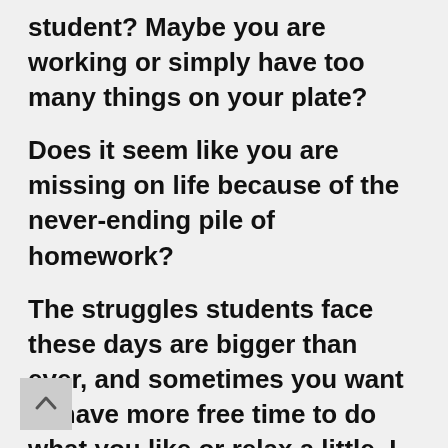student? Maybe you are working or simply have too many things on your plate?
Does it seem like you are missing on life because of the never-ending pile of homework?
The struggles students face these days are bigger than ever, and sometimes you want to have more free time to do what you like or relax a little. I will write your academic paper while you